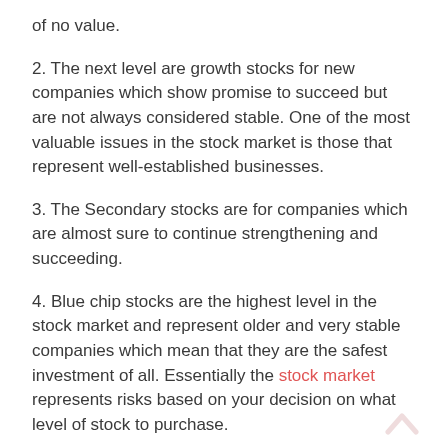of no value.
2. The next level are growth stocks for new companies which show promise to succeed but are not always considered stable. One of the most valuable issues in the stock market is those that represent well-established businesses.
3. The Secondary stocks are for companies which are almost sure to continue strengthening and succeeding.
4. Blue chip stocks are the highest level in the stock market and represent older and very stable companies which mean that they are the safest investment of all. Essentially the stock market represents risks based on your decision on what level of stock to purchase.